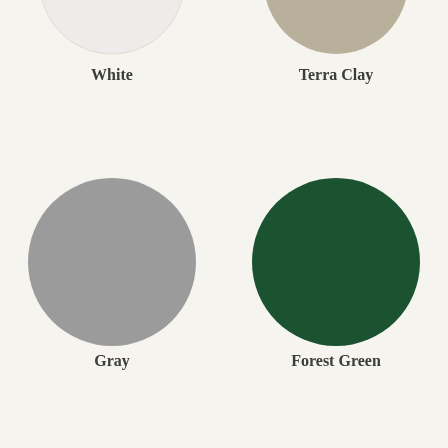[Figure (infographic): Color swatch circles for product color options: White, Terra Clay, Gray, Forest Green, Weather Wood, Redwood, Brown (partial), Black (partial)]
White
Terra Clay
Gray
Forest Green
Weather Wood
Redwood